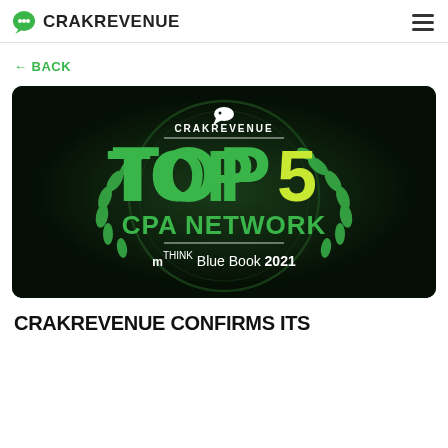CRAKREVENUE
← BACK
[Figure (illustration): CrakRevenue Top 5 CPA Network mThink Blue Book 2021 award badge on dark green background with laurel wreath decoration]
CRAKREVENUE CONFIRMS ITS